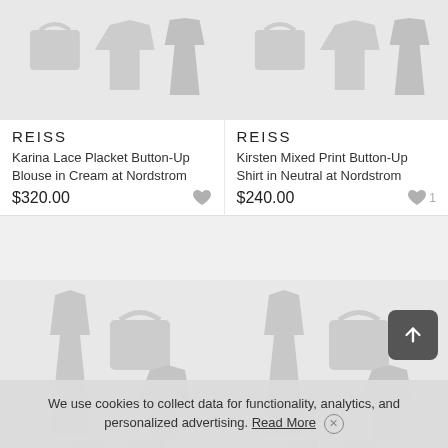[Figure (illustration): Fashion product placeholder image with silhouettes of clothing items - top row left card]
REISS
Karina Lace Placket Button-Up Blouse in Cream at Nordstrom
$320.00
[Figure (illustration): Fashion product placeholder image with silhouettes of clothing items - top row right card]
REISS
Kirsten Mixed Print Button-Up Shirt in Neutral at Nordstrom
$240.00
[Figure (illustration): Fashion product placeholder image with silhouettes of dress, bag, heels - bottom row left card]
[Figure (illustration): Fashion product placeholder image with silhouettes of dress, bag, heels - bottom row right card]
We use cookies to collect data for functionality, analytics, and personalized advertising. Read More